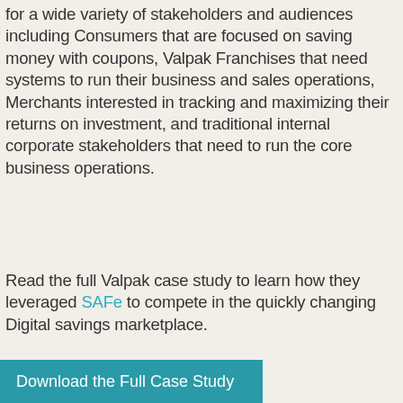for a wide variety of stakeholders and audiences including Consumers that are focused on saving money with coupons, Valpak Franchises that need systems to run their business and sales operations, Merchants interested in tracking and maximizing their returns on investment, and traditional internal corporate stakeholders that need to run the core business operations.
Read the full Valpak case study to learn how they leveraged SAFe to compete in the quickly changing Digital savings marketplace.
Download the Full Case Study